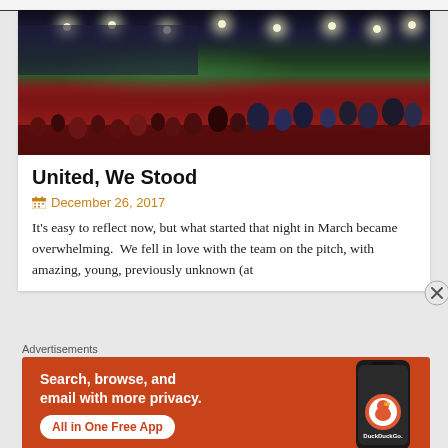[Figure (photo): Panoramic night photo of a packed soccer stadium with red-clad fans in the stands and bright stadium lights overhead]
United, We Stood
December 26, 2017
It’s easy to reflect now, but what started that night in March became overwhelming. We fell in love with the team on the pitch, with amazing, young, previously unknown (at
Advertisements
[Figure (screenshot): DuckDuckGo advertisement banner: Search, browse, and email with more privacy. All in One Free App. Shows DuckDuckGo logo on a phone.]